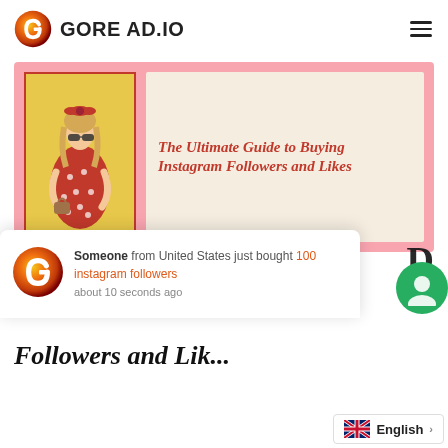GORE AD.IO
[Figure (illustration): Banner image for article: woman in red polka dot dress with red bow headband on yellow background, beside text 'The Ultimate Guide to Buying Instagram Followers and Likes' on pink and cream background]
The Ultimate Guide to Buying Instagram Followers and Likes
[Figure (logo): Gore Ad.IO logo - red/orange G letter with flame effect]
Someone from United States just bought 100 instagram followers about 10 seconds ago
Followers and Likes